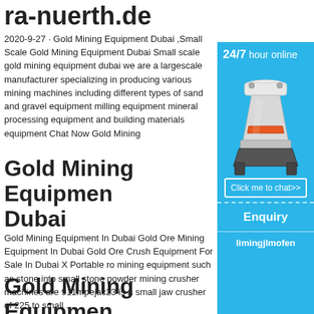ra-nuerth.de
2020-9-27 · Gold Mining Equipment Dubai ,Small Scale Gold Mining Equipment Dubai Small scale gold mining equipment dubai we are a largescale manufacturer specializing in producing various mining machines including different types of sand and gravel equipment milling equipment mineral processing equipment and building materials equipment Chat Now Gold Mining
Gold Mining Equipment Dubai
Gold Mining Equipment In Dubai Gold Ore Mining Equipment In Dubai Gold Ore Crush Equipment For Sale In Dubai X Portable ro mining equipment such as stone into small stone powder mining crusher machines are 911mpejac23 is a small jaw crusher of 225 to small ...
[Figure (infographic): Blue sidebar advertisement panel showing '24/7 hour online' text, a cone crusher machine image, a 'Click me to chat>>' button, an 'Enquiry' button, and 'limingjlmofen' text]
Gold Mining Equipment Dubai